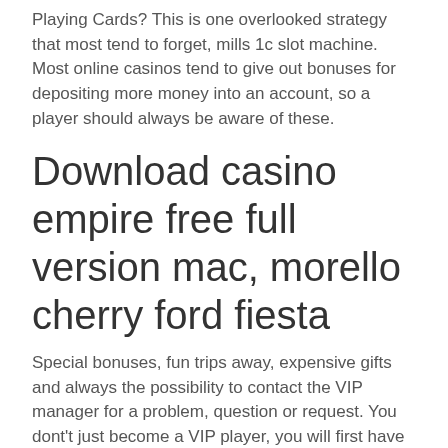Playing Cards? This is one overlooked strategy that most tend to forget, mills 1c slot machine. Most online casinos tend to give out bonuses for depositing more money into an account, so a player should always be aware of these.
Download casino empire free full version mac, morello cherry ford fiesta
Special bonuses, fun trips away, expensive gifts and always the possibility to contact the VIP manager for a problem, question or request. You dont't just become a VIP player, you will first have to bring a lot of money to the online casino before you're eligible. If you're able to financially miss this money and do you get a lot of fun from gambling online? Then of course there is nothing with that, gudvin. Then be wise and spend your